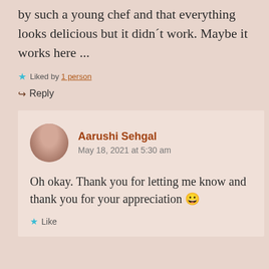by such a young chef and that everything looks delicious but it didn't work. Maybe it works here ...
★ Liked by 1 person
↪ Reply
Aarushi Sehgal
May 18, 2021 at 5:30 am
Oh okay. Thank you for letting me know and thank you for your appreciation 😀
★ Like